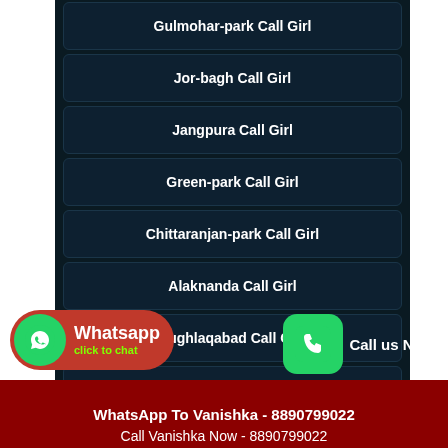Gulmohar-park Call Girl
Jor-bagh Call Girl
Jangpura Call Girl
Green-park Call Girl
Chittaranjan-park Call Girl
Alaknanda Call Girl
Tughlaqabad Call Girl
Govindpuri Call Girl
Call Vanishka Now - 8890799022
WhatsApp To Vanishka - 8890799022